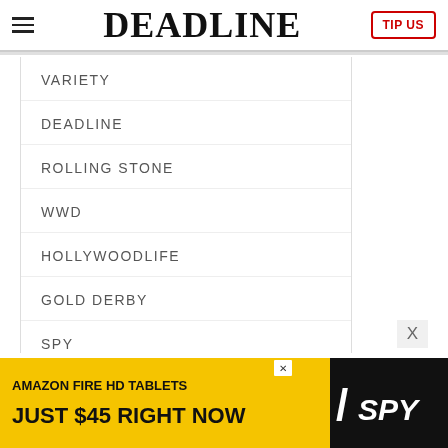DEADLINE | TIP US
VARIETY
DEADLINE
ROLLING STONE
WWD
HOLLYWOODLIFE
GOLD DERBY
SPY
ROBB REPORT
FOOTWEAR NEWS
[Figure (screenshot): Amazon Fire HD Tablets advertisement banner: yellow and black, text reads 'AMAZON FIRE HD TABLETS JUST $45 RIGHT NOW' with SPY logo]